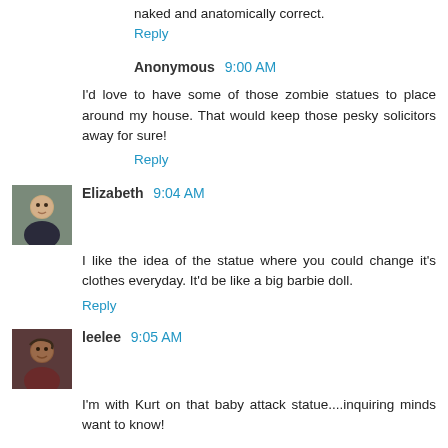naked and anatomically correct.
Reply
Anonymous 9:00 AM
I'd love to have some of those zombie statues to place around my house. That would keep those pesky solicitors away for sure!
Reply
Elizabeth 9:04 AM
I like the idea of the statue where you could change it's clothes everyday. It'd be like a big barbie doll.
Reply
leelee 9:05 AM
I'm with Kurt on that baby attack statue....inquiring minds want to know!